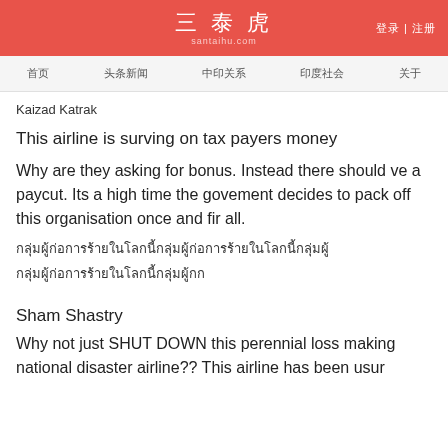三泰虎 santaihu.com | 登录 | 注册
首页 | 头条新闻 | 中印关系 | 印度社会 | 关于
Kaizad Katrak
This airline is surving on tax payers money
Why are they asking for bonus. Instead there should ve a paycut. Its a high time the govement decides to pack off this organisation once and fir all.
กลุ่มผู้ก่อการร้ายในโลก
กลุ่มผู้ก่อการร้าย
Sham Shastry
Why not just SHUT DOWN this perennial loss making national disaster airline?? This airline has been usur